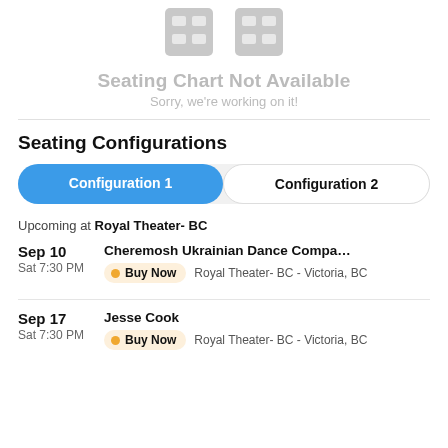[Figure (illustration): Two grey building/seating chart placeholder icons side by side]
Seating Chart Not Available
Sorry, we're working on it!
Seating Configurations
Configuration 1 | Configuration 2
Upcoming at Royal Theater- BC
Sep 10
Sat 7:30 PM
Cheremosh Ukrainian Dance Company: Mriya - Life I...
Buy Now  Royal Theater- BC - Victoria, BC
Sep 17
Sat 7:30 PM
Jesse Cook
Buy Now  Royal Theater- BC - Victoria, BC